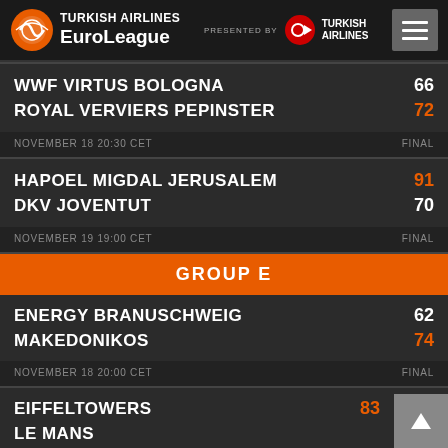[Figure (logo): Turkish Airlines EuroLeague logo with presented by Turkish Airlines header and menu button]
| Team | Score |
| --- | --- |
| WWF VIRTUS BOLOGNA | 66 |
| ROYAL VERVIERS PEPINSTER | 72 |
| NOVEMBER 18 20:30 CET | FINAL |
| Team | Score |
| --- | --- |
| HAPOEL MIGDAL JERUSALEM | 91 |
| DKV JOVENTUT | 70 |
| NOVEMBER 19 19:00 CET | FINAL |
GROUP E
| Team | Score |
| --- | --- |
| ENERGY BRANUSCHWEIG | 62 |
| MAKEDONIKOS | 74 |
| NOVEMBER 18 20:00 CET | FINAL |
| Team | Score |
| --- | --- |
| EIFFELTOWERS | 83 |
| LE MANS | 56 |
| NOVEMBER 18 20:00 CET | FINAL |
ADECCO ESTUDIANTES